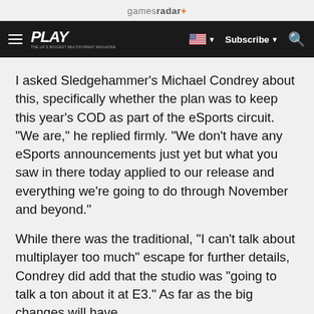gamesradar+
PLAY | Subscribe | Search
I asked Sledgehammer's Michael Condrey about this, specifically whether the plan was to keep this year's COD as part of the eSports circuit. "We are," he replied firmly. "We don't have any eSports announcements just yet but what you saw in there today applied to our release and everything we're going to do through November and beyond."
While there was the traditional, "I can't talk about multiplayer too much" escape for further details, Condrey did add that the studio was "going to talk a ton about it at E3." As far as the big changes will have